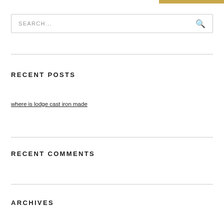SEARCH...
RECENT POSTS
where is lodge cast iron made
RECENT COMMENTS
ARCHIVES